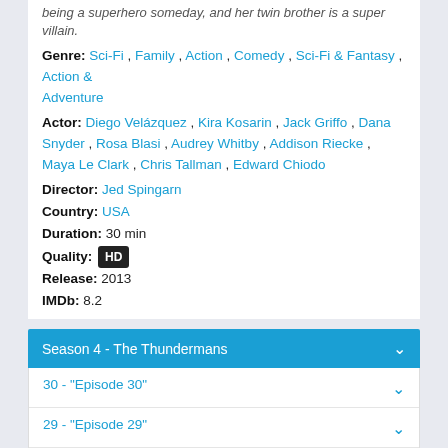being a superhero someday, and her twin brother is a super villain.
Genre: Sci-Fi , Family , Action , Comedy , Sci-Fi & Fantasy , Action & Adventure
Actor: Diego Velázquez , Kira Kosarin , Jack Griffo , Dana Snyder , Rosa Blasi , Audrey Whitby , Addison Riecke , Maya Le Clark , Chris Tallman , Edward Chiodo
Director: Jed Spingarn
Country: USA
Duration: 30 min
Quality: HD
Release: 2013
IMDb: 8.2
Season 4 - The Thundermans
30 - "Episode 30"
29 - "Episode 29"
28 - "Mad Max: Beyond Thunderhome"
2018-05-25
27 - "All the President's Thunder-Men"
2018-03-17
26 - "Cookie Mistake"
2018-03-10